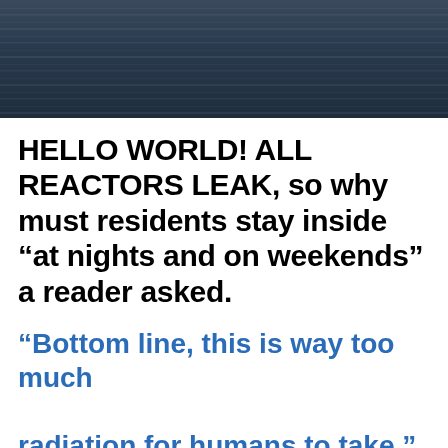[Figure (photo): Dark blue-grey abstract background image with horizontal motion-blur streaks, occupying the top portion of the page.]
HELLO WORLD! ALL REACTORS LEAK, so why must residents stay inside “at nights and on weekends” a reader asked.
“Bottom line, this is way too much radiation for humans to take.” – Bob